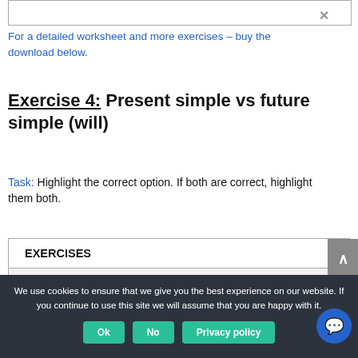For a detailed worksheet and more exercises – buy the download below.
Exercise 4: Present simple vs future simple (will)
Task: Highlight the correct option. If both are correct, highlight them both.
| EXERCISES |
| --- |
| ANSWERS |
| 1. This essay argues/will argue that physical... |
We use cookies to ensure that we give you the best experience on our website. If you continue to use this site we will assume that you are happy with it.